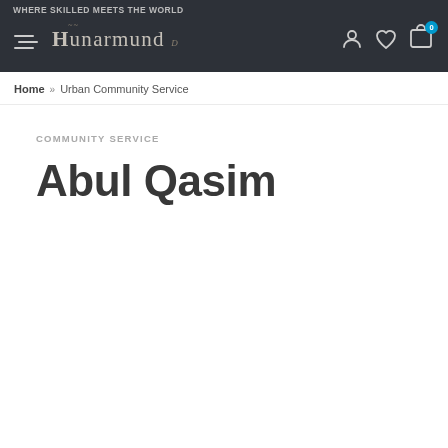WHERE SKILLED MEETS THE WORLD
[Figure (logo): Hunarmund logo with hamburger menu, user icon, heart icon, and cart icon with badge 0]
Home » Urban Community Service
COMMUNITY SERVICE
Abul Qasim